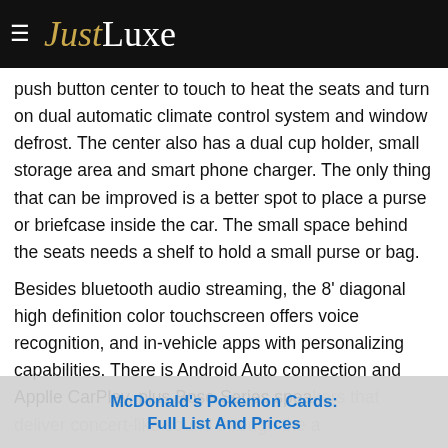JustLuxe
push button center to touch to heat the seats and turn on dual automatic climate control system and window defrost. The center also has a dual cup holder, small storage area and smart phone charger. The only thing that can be improved is a better spot to place a purse or briefcase inside the car. The small space behind the seats needs a shelf to hold a small purse or bag.
Besides bluetooth audio streaming, the 8' diagonal high definition color touchscreen offers voice recognition, and in-vehicle apps with personalizing capabilities. There is Android Auto connection and Applle CarPlay, plus Bose Series speakers that deliver concert-like sound through the a
McDonald's Pokemon Cards: Full List And Prices